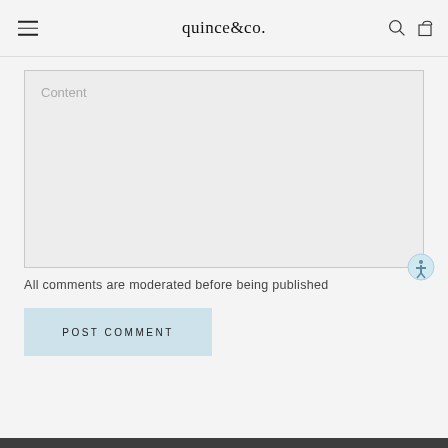quince&co.
[Figure (screenshot): Content textarea input field with placeholder text 'Content' on a light gray background with border]
All comments are moderated before being published
POST COMMENT